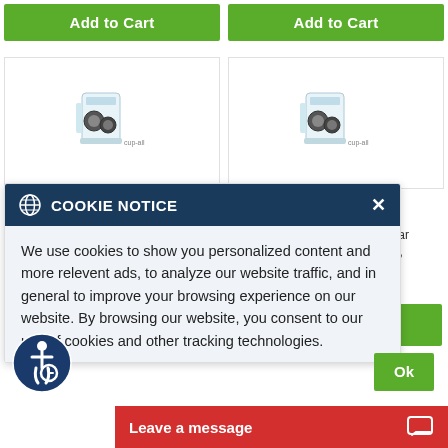[Figure (screenshot): Two green 'Add to Cart' buttons side by side at top of page]
[Figure (screenshot): Two product image cards showing canister products with gears/discs]
3
ary Molar Primary,
5
e
[Figure (screenshot): Cookie notice overlay with dark blue header showing globe icon and 'COOKIE NOTICE' title with X close button. Body text reads: We use cookies to show you personalized content and more relevent ads, to analyze our website traffic, and in general to improve your browsing experience on our website. By browsing our website, you consent to our use of cookies and other tracking technologies.]
[Figure (screenshot): Accessibility icon (wheelchair symbol in circle) at bottom left]
[Figure (screenshot): Red 'Leave a message' bar at bottom with chat icon]